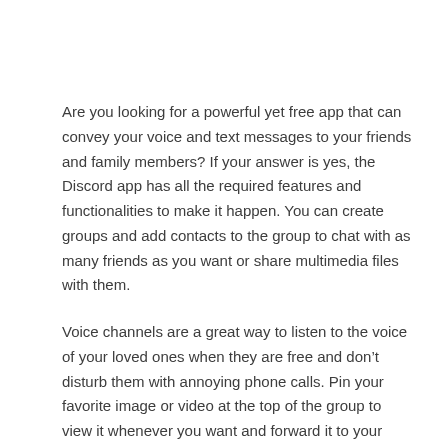Are you looking for a powerful yet free app that can convey your voice and text messages to your friends and family members? If your answer is yes, the Discord app has all the required features and functionalities to make it happen. You can create groups and add contacts to the group to chat with as many friends as you want or share multimedia files with them.
Voice channels are a great way to listen to the voice of your loved ones when they are free and don’t disturb them with annoying phone calls. Pin your favorite image or video at the top of the group to view it whenever you want and forward it to your common friend.